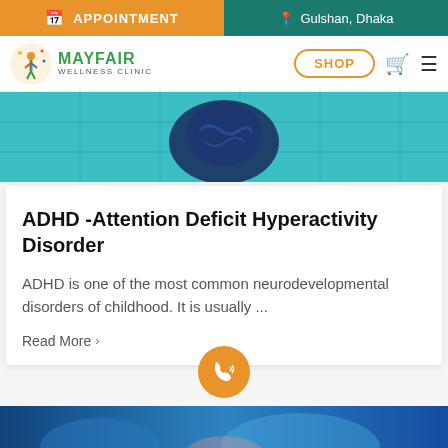APPOINTMENT | Gulshan, Dhaka
[Figure (logo): Mayfair Wellness Clinic logo with colorful figure icon and SHOP button, cart icon, and hamburger menu]
[Figure (illustration): Teal/blue illustrated header banner with brain or head imagery suggesting neurology/mental health theme]
ADHD -Attention Deficit Hyperactivity Disorder
ADHD is one of the most common neurodevelopmental disorders of childhood. It is usually ...
Read More >
[Figure (illustration): Orange circular phone/call button (FAB) floating at bottom center]
[Figure (photo): Bottom strip showing a blue-toned medical/anatomy illustration (partial view)]